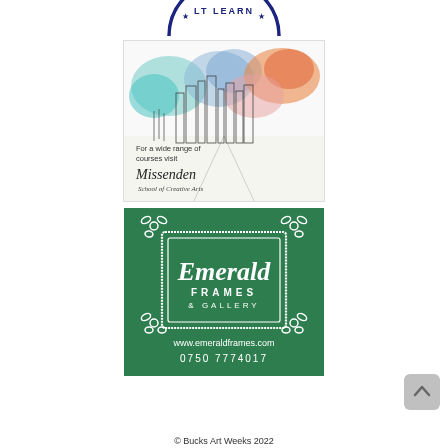[Figure (logo): Partial circular logo with text 'LT LEARN' visible at top, dark navy blue on white background]
[Figure (illustration): Missenden School of Creative Arts advertisement. Watercolour illustration of a building/cityscape with colourful background. Text reads: 'For a wide range of courses visit Missenden School of Creative Arts']
[Figure (logo): Emerald Frames & Gallery advertisement on dark green background. White hand-drawn frame border with floral corner decorations. Text: 'Emerald FRAMES & GALLERY www.emeraldframes.com 0750 7774017']
[Figure (illustration): Back-to-top navigation button, light grey rounded square with upward chevron/arrow]
© Bucks Art Weeks 2022